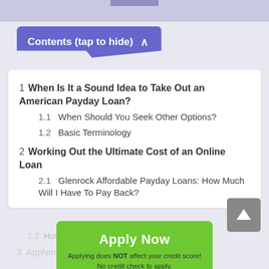Contents (tap to hide) ^
1  When Is It a Sound Idea to Take Out an American Payday Loan?
1.1  When Should You Seek Other Options?
1.2  Basic Terminology
2  Working Out the Ultimate Cost of an Online Loan
2.1  Glenrock Affordable Payday Loans: How Much Will I Have To Pay Back?
2.2  How Can I Reduce the Cost?
3  Applying... of Wyoming
[Figure (other): Green Apply Now button with text 'Apply Now' and subtext 'Applying does NOT affect your credit score! No credit check to apply.']